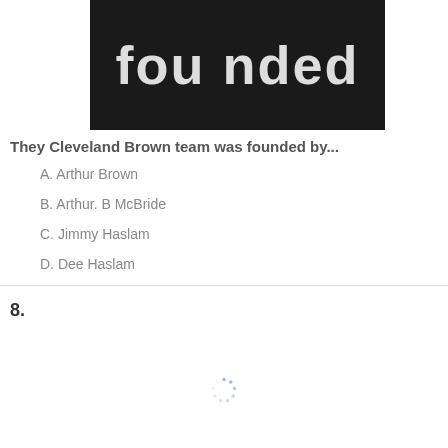[Figure (photo): Black background image with white bold text partially visible reading 'fou nded']
They Cleveland Brown team was founded by...
A. Arthur Brown
B. Arthur. B McBride
C. Jimmy Haslam
D. Dee Haslam
8.
[Figure (other): Loading spinner icon]
In which stadium did Cleveland Brown play?
A. Michigan stadium
B. First Energy stadium